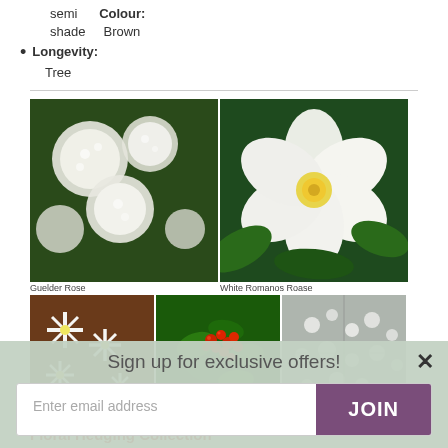semi shade
Colour: Brown
Longevity: Tree
[Figure (photo): Grid of plant/flower photos: top row shows Guelder Rose (white round flower clusters) and White Romanos Roase (single large white flower); bottom row shows Amelanchier (white star-shaped flowers), Rowan (green plant with red berries), and Wild Cherry (grey-white flowering tree).]
Guelder Rose, White Romanos Roase, Amelanchier, Rowan, Wild Cherry
Floral Hedging Collection
Sign up for exclusive offers!
Enter email address
JOIN